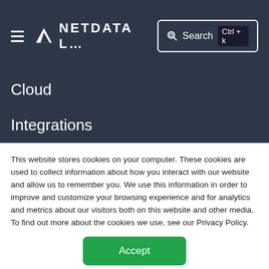NETDATA L… Search Ctrl+k
Cloud
Integrations
Status
Resources
Learn
This website stores cookies on your computer. These cookies are used to collect information about how you interact with our website and allow us to remember you. We use this information in order to improve and customize your browsing experience and for analytics and metrics about our visitors both on this website and other media. To find out more about the cookies we use, see our Privacy Policy.
Accept